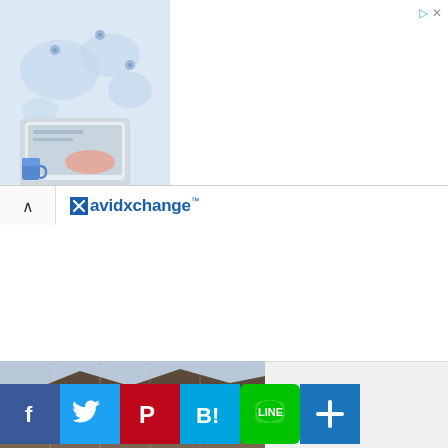[Figure (infographic): Advertisement banner: Future of Work Infographic by Velocity Global, with Open button, laptop illustration with world map background]
[Figure (logo): avidxchange logo with blue X box icon and brand name in blue text with trademark symbol]
[Figure (photo): Partial photo of a building with wooden/rustic architecture at bottom of page]
[Figure (infographic): Social sharing buttons: Facebook, Twitter, Pinterest, Hatena Bookmark, LINE, More (plus icon)]